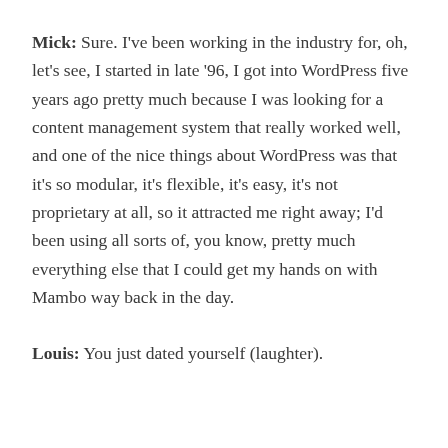Mick: Sure. I've been working in the industry for, oh, let's see, I started in late '96, I got into WordPress five years ago pretty much because I was looking for a content management system that really worked well, and one of the nice things about WordPress was that it's so modular, it's flexible, it's easy, it's not proprietary at all, so it attracted me right away; I'd been using all sorts of, you know, pretty much everything else that I could get my hands on with Mambo way back in the day.
Louis: You just dated yourself (laughter).